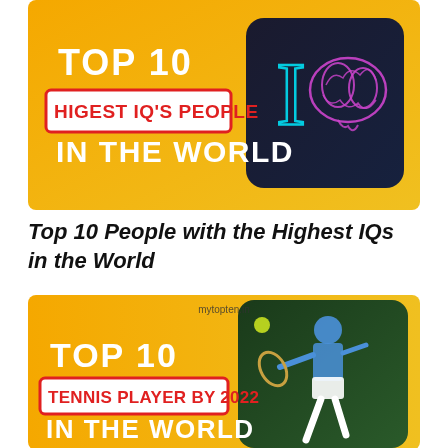[Figure (infographic): Orange/yellow gradient background thumbnail with bold white text 'TOP 10' and red-outlined white box 'HIGEST IQ'S PEOPLE IN THE WORLD', and a dark square with neon brain and letter I on the right side.]
Top 10 People with the Highest IQs in the World
[Figure (infographic): Orange/yellow gradient background thumbnail with 'mytopten.in' watermark, bold white text 'TOP 10' and red box 'TENNIS PLAYER BY 2022' and 'IN THE WORLD', with a tennis player photo on the right side.]